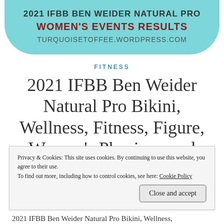[Figure (other): Turquoise banner with blog header: '2021 IFBB BEN WEIDER NATURAL PRO WOMEN'S EVENTS RESULTS TURQUOISETOFFEE.WORDPRESS.COM']
FITNESS
2021 IFBB Ben Weider Natural Pro Bikini, Wellness, Fitness, Figure, Women's Physique and Women's Bodybuilding Results
Privacy & Cookies: This site uses cookies. By continuing to use this website, you agree to their use.
To find out more, including how to control cookies, see here: Cookie Policy
Close and accept
2021 IFBB Ben Weider Natural Pro Bikini, Wellness,